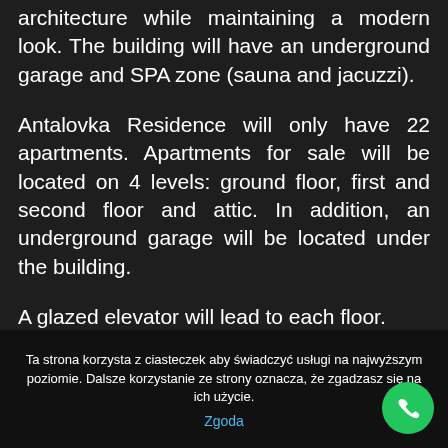designed to blend in with local architecture while maintaining a modern look. The building will have an underground garage and SPA zone (sauna and jacuzzi).
Antalovka Residence will only have 22 apartments. Apartments for sale will be located on 4 levels: ground floor, first and second floor and attic. In addition, an underground garage will be located under the building.
A glazed elevator will lead to each floor.
Ta strona korzysta z ciasteczek aby świadczyć usługi na najwyższym poziomie. Dalsze korzystanie ze strony oznacza, że zgadzasz się na ich użycie.
Zgoda